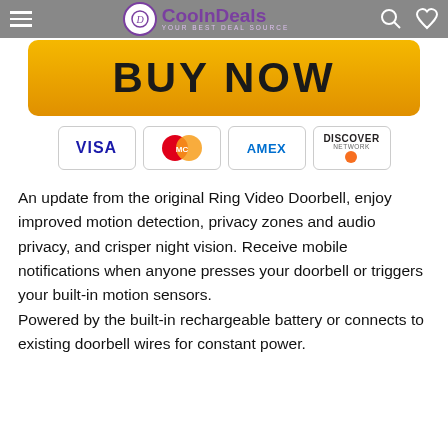CoolnDeals - Your Best Deal Source
[Figure (other): Orange BUY NOW button with payment card logos: VISA, MasterCard, AMEX, DISCOVER]
An update from the original Ring Video Doorbell, enjoy improved motion detection, privacy zones and audio privacy, and crisper night vision. Receive mobile notifications when anyone presses your doorbell or triggers your built-in motion sensors. Powered by the built-in rechargeable battery or connects to existing doorbell wires for constant power.